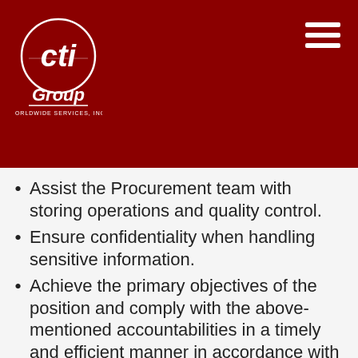[Figure (logo): CTI Group Worldwide Services Inc. logo on dark red background with hamburger menu icon]
Assist the Procurement team with storing operations and quality control.
Ensure confidentiality when handling sensitive information.
Achieve the primary objectives of the position and comply with the above-mentioned accountabilities in a timely and efficient manner in accordance with ICS policies.
Project a favorable image of the company, promote its aims and objectives, and foster and enhance public recognition and...